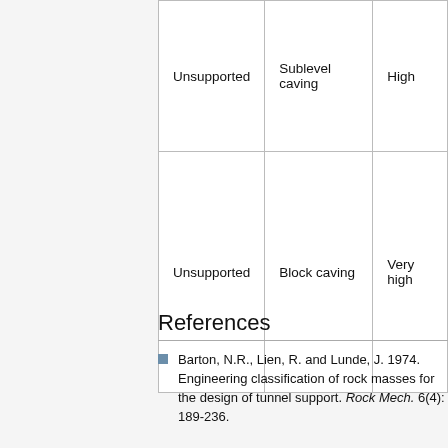| Unsupported | Sublevel caving | High |
| Unsupported | Block caving | Very high |
References
Barton, N.R., Lien, R. and Lunde, J. 1974. Engineering classification of rock masses for the design of tunnel support. Rock Mech. 6(4): 189-236.